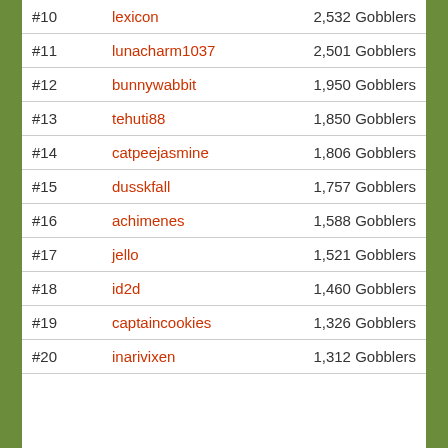| Rank | Username | Score |
| --- | --- | --- |
| #10 | lexicon | 2,532 Gobblers |
| #11 | lunacharm1037 | 2,501 Gobblers |
| #12 | bunnywabbit | 1,950 Gobblers |
| #13 | tehuti88 | 1,850 Gobblers |
| #14 | catpeejasmine | 1,806 Gobblers |
| #15 | dusskfall | 1,757 Gobblers |
| #16 | achimenes | 1,588 Gobblers |
| #17 | jello | 1,521 Gobblers |
| #18 | id2d | 1,460 Gobblers |
| #19 | captaincookies | 1,326 Gobblers |
| #20 | inarivixen | 1,312 Gobblers |